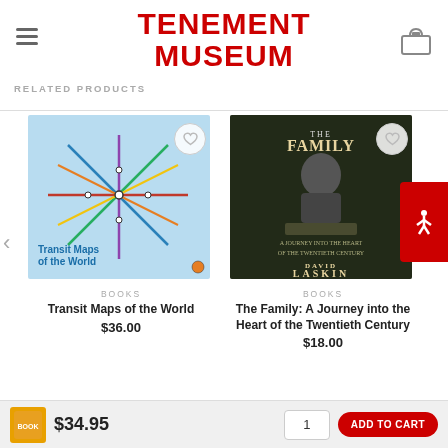TENEMENT MUSEUM
RELATED PRODUCTS
[Figure (other): Book cover: Transit Maps of the World - light blue cover with world transit map diagram]
BOOKS
Transit Maps of the World
$36.00
[Figure (other): Book cover: The Family: A Journey into the Heart of the Twentieth Century by David Laskin - dark cover with black and white photo of young man]
BOOKS
The Family: A Journey into the Heart of the Twentieth Century
$18.00
$34.95  1  ADD TO CART